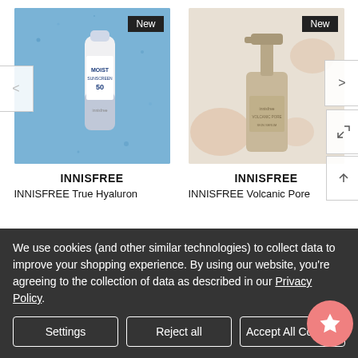[Figure (photo): Innisfree Moist Sunscreen product on blue background with 'New' badge]
[Figure (photo): Innisfree Volcanic Pore serum/pump bottle on beige background with 'New' badge]
INNISFREE
INNISFREE
INNISFREE True Hyaluron
INNISFREE Volcanic Pore
We use cookies (and other similar technologies) to collect data to improve your shopping experience. By using our website, you're agreeing to the collection of data as described in our Privacy Policy.
Settings
Reject all
Accept All Cookies